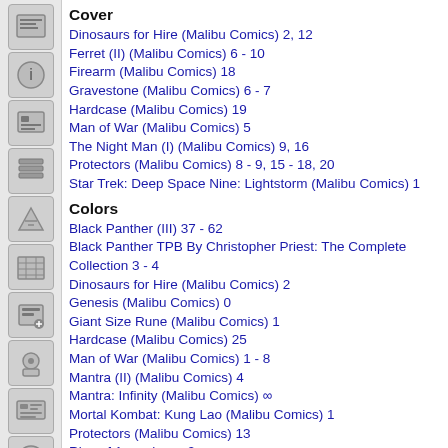Cover
Dinosaurs for Hire (Malibu Comics) 2, 12
Ferret (II) (Malibu Comics) 6 - 10
Firearm (Malibu Comics) 18
Gravestone (Malibu Comics) 6 - 7
Hardcase (Malibu Comics) 19
Man of War (Malibu Comics) 5
The Night Man (I) (Malibu Comics) 9, 16
Protectors (Malibu Comics) 8 - 9, 15 - 18, 20
Star Trek: Deep Space Nine: Lightstorm (Malibu Comics) 1
Colors
Black Panther (III) 37 - 62
Black Panther TPB By Christopher Priest: The Complete Collection 3 - 4
Dinosaurs for Hire (Malibu Comics) 2
Genesis (Malibu Comics) 0
Giant Size Rune (Malibu Comics) 1
Hardcase (Malibu Comics) 25
Man of War (Malibu Comics) 1 - 8
Mantra (II) (Malibu Comics) 4
Mantra: Infinity (Malibu Comics) ∞
Mortal Kombat: Kung Lao (Malibu Comics) 1
Protectors (Malibu Comics) 13
Rise of Apocalypse 2
Rise of Apocalypse TPB 1
Rune (I) (Malibu Comics) 1 - 8
Rune/Wrath Ashcan Edition (Malibu Comics) 1
Star Trek: Deep Space Nine (Malibu Comics) 22